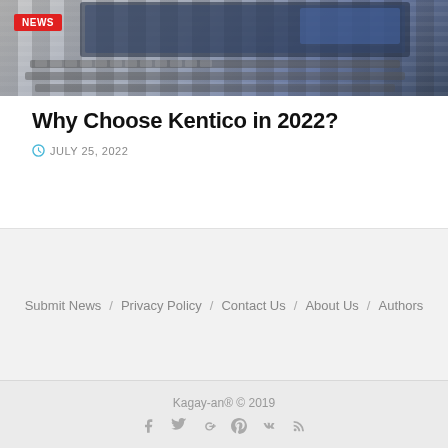[Figure (photo): Laptop keyboard close-up photo with NEWS badge overlay in top-left corner]
Why Choose Kentico in 2022?
JULY 25, 2022
Submit News / Privacy Policy / Contact Us / About Us / Authors
Kagay-an® © 2019